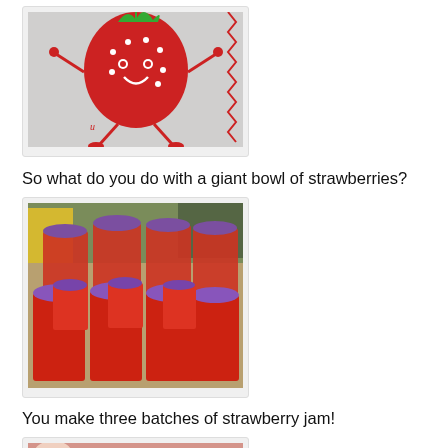[Figure (photo): Cartoon strawberry character embroidered or drawn on fabric]
So what do you do with a giant bowl of strawberries?
[Figure (photo): Multiple red plastic containers with purple lids containing strawberry jam, stacked and arranged on a counter]
You make three batches of strawberry jam!
[Figure (photo): Close-up of strawberry jam being made or spooned]